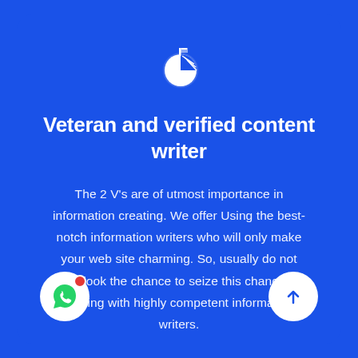[Figure (logo): White icon of a pie chart or research/data icon at the top center of the card]
Veteran and verified content writer
The 2 V's are of utmost importance in information creating. We offer Using the best-notch information writers who will only make your web site charming. So, usually do not overlook the chance to seize this chance of dealing with highly competent information writers.